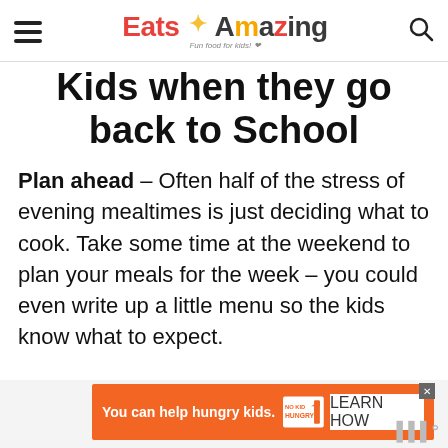Eats Amazing – Fun food for kids!
Kids when they go back to School
Plan ahead – Often half of the stress of evening mealtimes is just deciding what to cook. Take some time at the weekend to plan your meals for the week – you could even write up a little menu so the kids know what to expect.
[Figure (screenshot): Orange advertisement banner: 'You can help hungry kids.' with No Kid Hungry logo and 'Learn How' button]